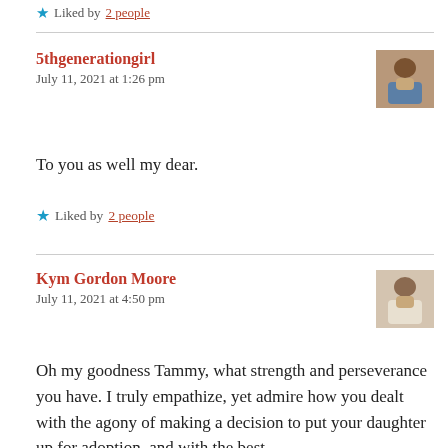Liked by 2 people
5thgenerationgirl
July 11, 2021 at 1:26 pm
To you as well my dear.
Liked by 2 people
Kym Gordon Moore
July 11, 2021 at 4:50 pm
Oh my goodness Tammy, what strength and perseverance you have. I truly empathize, yet admire how you dealt with the agony of making a decision to put your daughter up for adoption, and with the best